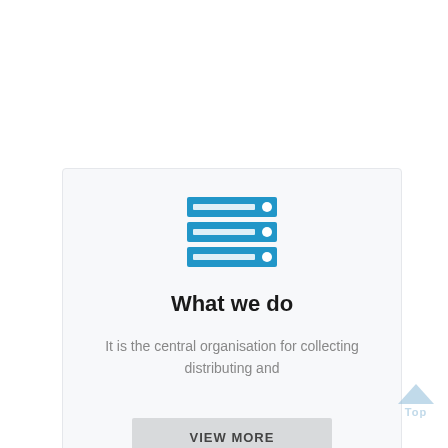[Figure (illustration): Blue server/database stack icon with three stacked rows, each with a horizontal bar and a circle on the right]
What we do
It is the central organisation for collecting distributing and
VIEW MORE